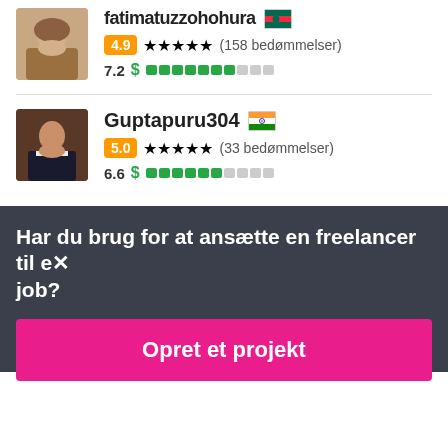[Figure (photo): Profile photo of freelancer fatimatuzzohura - woman with headscarf]
fatimatuzzohura 🇧🇩
4.9 ★★★★★ (158 bedømmelser)
7.2 $ ████████░░░
[Figure (photo): Profile photo of freelancer Guptapuru304 - man in dark suit]
Guptapuru304 🇮🇳
5.0 ★★★★★ (33 bedømmelser)
6.6 $ ████████░░░
Har du brug for at ansætte en freelancer til et job?
Opret et projekt